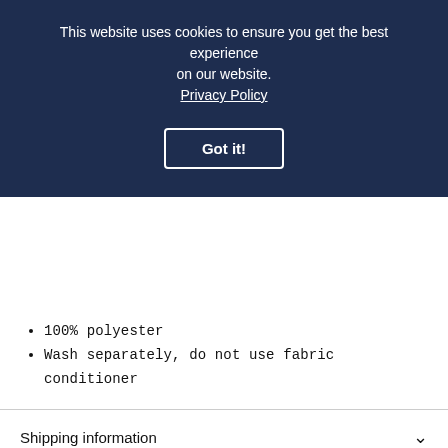This website uses cookies to ensure you get the best experience on our website. Privacy Policy
Got it!
100% polyester
Wash separately, do not use fabric conditioner
Shipping information
Ask a question
Returns Policy
You may also like